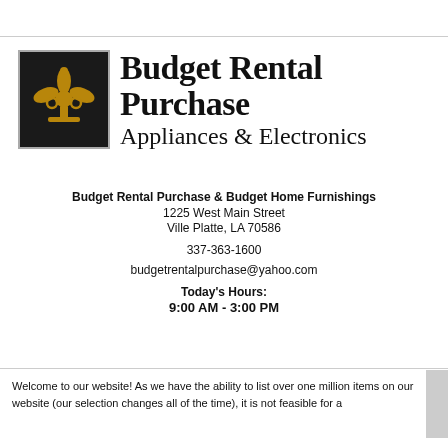[Figure (logo): Budget Rental Purchase Appliances & Electronics logo with fleur-de-lis on dark background]
Budget Rental Purchase & Budget Home Furnishings
1225 West Main Street
Ville Platte, LA 70586
337-363-1600
budgetrentalpurchase@yahoo.com
Today's Hours:
9:00 AM - 3:00 PM
Welcome to our website! As we have the ability to list over one million items on our website (our selection changes all of the time), it is not feasible for a